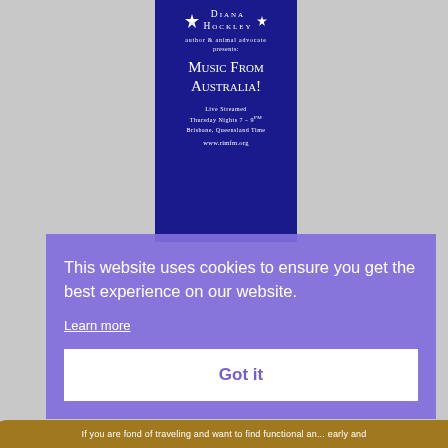[Figure (illustration): Dark blue vertical banner/poster for Diana Hockley, author and animal advocate, advertising 'Music From Australia!' live streamed Thursday Nights 7-9PM Brisbane, Queensland Time at www.rimfm.org]
This website uses cookies to ensure you get the best experience on our website.
Learn more
Got it
If you are fond of traveling and want to find functional an... early and